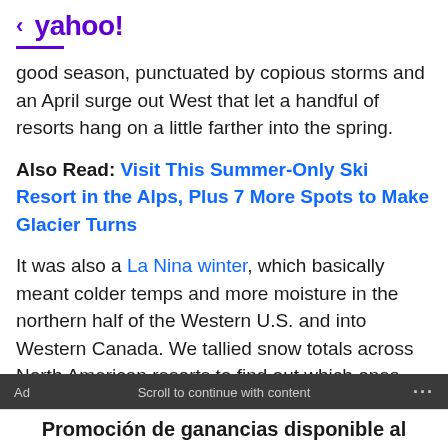< yahoo!
good season, punctuated by copious storms and an April surge out West that let a handful of resorts hang on a little farther into the spring.
Also Read: Visit This Summer-Only Ski Resort in the Alps, Plus 7 More Spots to Make Glacier Turns
It was also a La Nina winter, which basically meant colder temps and more moisture in the northern half of the Western U.S. and into Western Canada. We tallied snow totals across North American resorts to find out which ones made out best in each region. History won't necessarily repeat itself, but it's always good to know who tends to rake it in when La Nina is at the helm.
Ad   Scroll to continue with content   ...
Promoción de ganancias disponible al